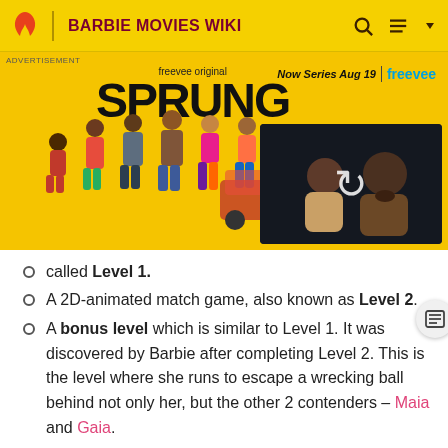BARBIE MOVIES WIKI
[Figure (screenshot): Advertisement banner for 'Sprung' freevee original series showing cast members and a video thumbnail with reload icon]
called Level 1. (partial)
A 2D-animated match game, also known as Level 2.
A bonus level which is similar to Level 1. It was discovered by Barbie after completing Level 2. This is the level where she runs to escape a wrecking ball behind not only her, but the other 2 contenders – Maia and Gaia.
A pixelized block-building world, which is called Level... (partial)